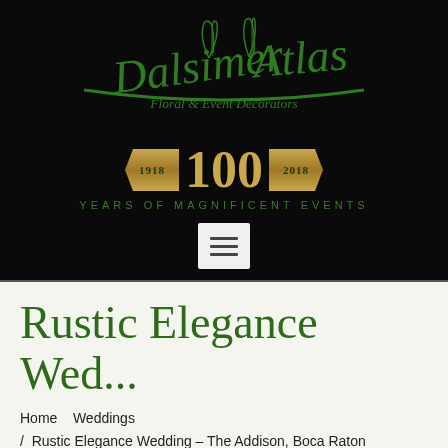[Figure (logo): Dalsimer Atlas Floral & Event Decorators logo with script lettering in green, floral accents, and '1918 | 100 | 2018 YEARS OF MAGNIFICENT EVENTS' centennial banner in gold and green on black background]
[Figure (screenshot): Hamburger menu icon (three horizontal lines) in a light gray square button]
Rustic Elegance Wed...
Home    Weddings  /   Rustic Elegance Wedding – The Addison, Boca Raton